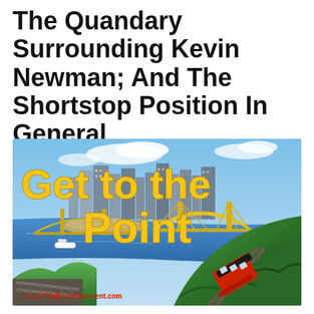The Quandary Surrounding Kevin Newman; And The Shortstop Position In General
[Figure (photo): Aerial photo of Pittsburgh, PA skyline with rivers, yellow bridges, city buildings, and green hills. A red incline/trolley car appears in the foreground bottom-right. Text overlay reads 'Get to the Point' in yellow/gold bold font. Website URL 'InsideTheBucsBasement.com' shown in red at bottom-left.]